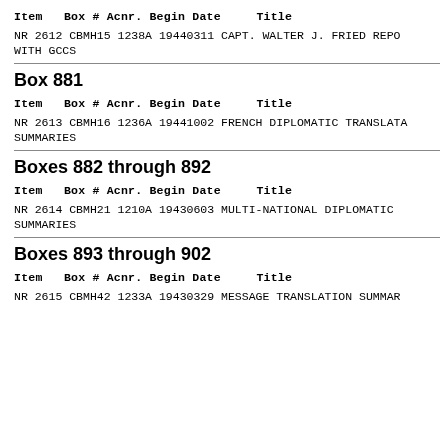| Item | Box # | Acnr. | Begin Date | Title |
| --- | --- | --- | --- | --- |
| NR 2612 | CBMH15 | 1238A | 19440311 | CAPT. WALTER J. FRIED REPO... WITH GCCS |
Box 881
| Item | Box # | Acnr. | Begin Date | Title |
| --- | --- | --- | --- | --- |
| NR 2613 | CBMH16 | 1236A | 19441002 | FRENCH DIPLOMATIC TRANSLAT... SUMMARIES |
Boxes 882 through 892
| Item | Box # | Acnr. | Begin Date | Title |
| --- | --- | --- | --- | --- |
| NR 2614 | CBMH21 | 1210A | 19430603 | MULTI-NATIONAL DIPLOMATIC... SUMMARIES |
Boxes 893 through 902
| Item | Box # | Acnr. | Begin Date | Title |
| --- | --- | --- | --- | --- |
| NR 2615 | CBMH42 | 1233A | 19430329 | MESSAGE TRANSLATION SUMMAR... |